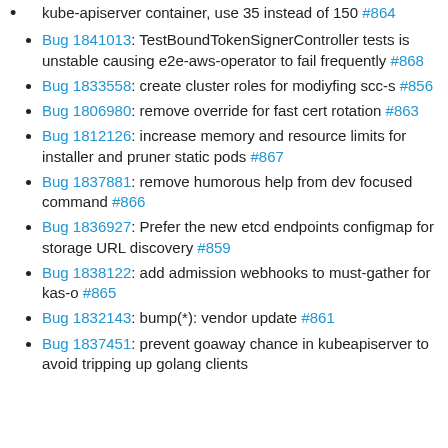kube-apiserver container, use 35 instead of 150 #864
Bug 1841013: TestBoundTokenSignerController tests is unstable causing e2e-aws-operator to fail frequently #868
Bug 1833558: create cluster roles for modiyfing scc-s #856
Bug 1806980: remove override for fast cert rotation #863
Bug 1812126: increase memory and resource limits for installer and pruner static pods #867
Bug 1837881: remove humorous help from dev focused command #866
Bug 1836927: Prefer the new etcd endpoints configmap for storage URL discovery #859
Bug 1838122: add admission webhooks to must-gather for kas-o #865
Bug 1832143: bump(*): vendor update #861
Bug 1837451: prevent goaway chance in kubeapiserver to avoid tripping up golang clients